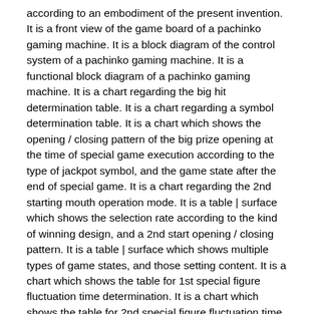according to an embodiment of the present invention. It is a front view of the game board of a pachinko gaming machine. It is a block diagram of the control system of a pachinko gaming machine. It is a functional block diagram of a pachinko gaming machine. It is a chart regarding the big hit determination table. It is a chart regarding a symbol determination table. It is a chart which shows the opening / closing pattern of the big prize opening at the time of special game execution according to the type of jackpot symbol, and the game state after the end of special game. It is a chart regarding the 2nd starting mouth operation mode. It is a table | surface which shows the selection rate according to the kind of winning design, and a 2nd start opening / closing pattern. It is a table | surface which shows multiple types of game states, and those setting content. It is a chart which shows the table for 1st special figure fluctuation time determination. It is a chart which shows the table for 2nd special figure fluctuation time determination. It is a functional block diagram of a production symbol display control means. It is a chart showing a plurality of types of notification effects and their classification. It is a graph which shows the